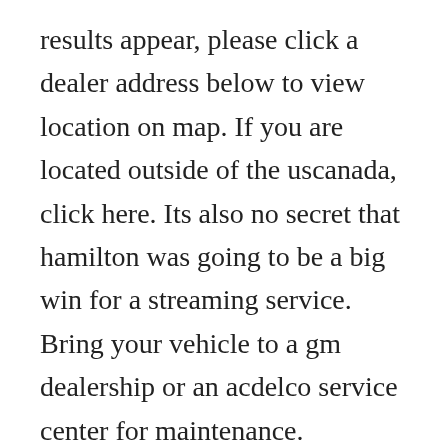results appear, please click a dealer address below to view location on map. If you are located outside of the uscanada, click here. Its also no secret that hamilton was going to be a big win for a streaming service. Bring your vehicle to a gm dealership or an acdelco service center for maintenance.
Enter an address or zip code and click the find locations button. Click here to view the complete list of authorized breitling service centers in nj. It is about 120 km northeast of adelaide, south australia, about 23 km north of